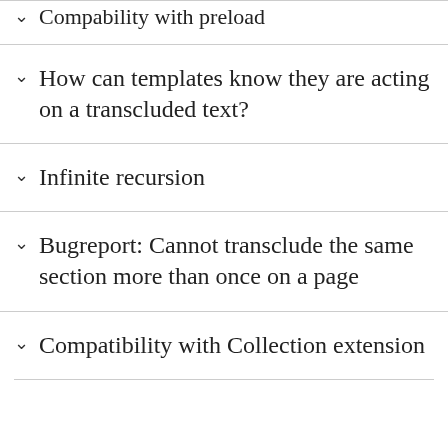Compability with preload
How can templates know they are acting on a transcluded text?
Infinite recursion
Bugreport: Cannot transclude the same section more than once on a page
Compatibility with Collection extension